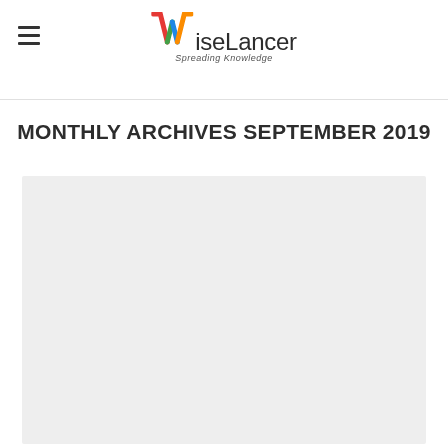WiseLancer – Spreading Knowledge
MONTHLY ARCHIVES SEPTEMBER 2019
[Figure (photo): Large light gray placeholder image area below the archive title]